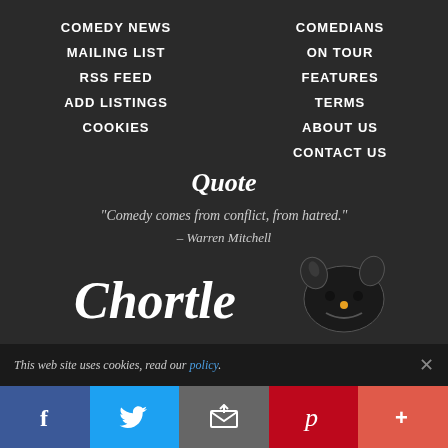COMEDY NEWS
MAILING LIST
RSS FEED
ADD LISTINGS
COOKIES
COMEDIANS
ON TOUR
FEATURES
TERMS
ABOUT US
CONTACT US
Quote
“Comedy comes from conflict, from hatred.”
– Warren Mitchell
[Figure (logo): Chortle comedy website logo with dog/comedy masks icon]
This web site uses cookies, read our policy.
Facebook | Twitter | Email | Pinterest | More social sharing